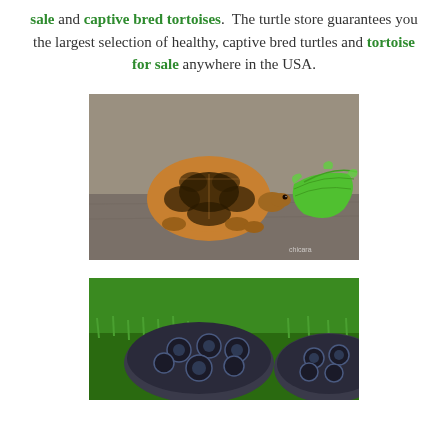sale and captive bred tortoises. The turtle store guarantees you the largest selection of healthy, captive bred turtles and tortoise for sale anywhere in the USA.
[Figure (photo): A small star tortoise eating a piece of green lettuce on a concrete surface. The tortoise has a distinctive orange and black patterned shell.]
[Figure (photo): Multiple tortoises with dark shells featuring blue/black geometric patterns, photographed outdoors with green grass in the background.]